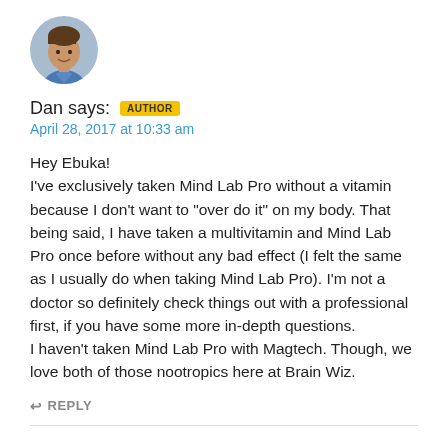[Figure (photo): Circular avatar photo of a young man]
Dan says: AUTHOR
April 28, 2017 at 10:33 am
Hey Ebuka!
I've exclusively taken Mind Lab Pro without a vitamin because I don't want to "over do it" on my body. That being said, I have taken a multivitamin and Mind Lab Pro once before without any bad effect (I felt the same as I usually do when taking Mind Lab Pro). I'm not a doctor so definitely check things out with a professional first, if you have some more in-depth questions.
I haven't taken Mind Lab Pro with Magtech. Though, we love both of those nootropics here at Brain Wiz.
↩ REPLY